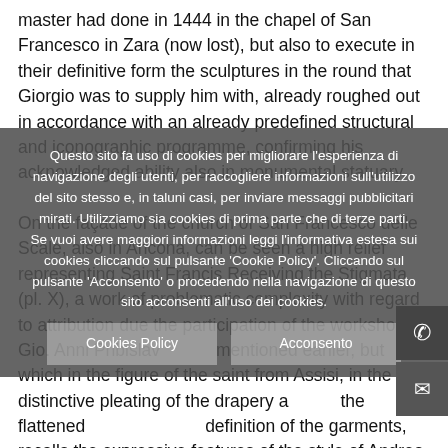master had done in 1444 in the chapel of San Francesco in Zara (now lost), but also to execute in their definitive form the sculptures in the round that Giorgio was to supply him with, already roughed out in accordance with an already predefined structural and iconographic programme, confirming his acknowledged ability also in monumental statuary.

On the façade of the church of San Francesco delle Scale, also in Ancona, can be seen a high relief representing Saint Francis Receiving the Stigmata (pl. X), a work of problematic complexity with regard to attribution due the participation of the workshop of Gio. Anni Pribislavi mentioned earlier, but which in the figure of the saint from Assisi, in the distinctive pleating of the drapery and the flattened definition of the garments, recalls the expressive features of the style of Andrea Alessi a decade later in the monumental relief of the Baptism of Christ for
Questo sito fa uso di cookies per migliorare l'esperienza di navigazione degli utenti, per raccogliere informazioni sull'utilizzo del sito stesso e, in taluni casi, per inviare messaggi pubblicitari mirati. Utilizziamo sia cookies di prima parte che di terze parti. Se vuoi avere maggiori informazioni leggi l'informativa estesa sui cookies cliccando sul pulsante 'Cookie Policy'. Cliccando sul pulsante 'Acconsento' o procedendo nella navigazione di questo sito acconsenti all'uso dei cookies.